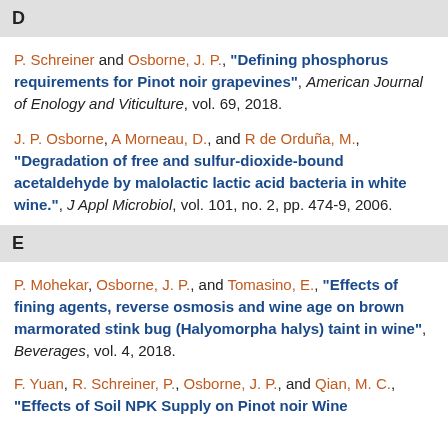D
P. Schreiner and Osborne, J. P., “Defining phosphorus requirements for Pinot noir grapevines”, American Journal of Enology and Viticulture, vol. 69, 2018.
J. P. Osborne, A Morneau, D., and R de Orduña, M., “Degradation of free and sulfur-dioxide-bound acetaldehyde by malolactic lactic acid bacteria in white wine.”, J Appl Microbiol, vol. 101, no. 2, pp. 474-9, 2006.
E
P. Mohekar, Osborne, J. P., and Tomasino, E., “Effects of fining agents, reverse osmosis and wine age on brown marmorated stink bug (Halyomorpha halys) taint in wine”, Beverages, vol. 4, 2018.
F. Yuan, R. Schreiner, P., Osborne, J. P., and Qian, M. C., “Effects of Soil NPK Supply on Pinot noir Wine Biochemistry and Sensory Attributes”